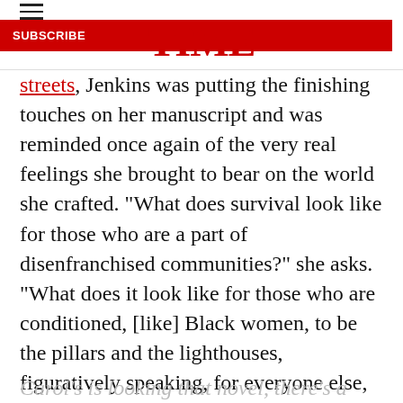TIME | SUBSCRIBE
streets, Jenkins was putting the finishing touches on her manuscript and was reminded once again of the very real feelings she brought to bear on the world she crafted. “What does survival look like for those who are a part of disenfranchised communities?” she asks. “What does it look like for those who are conditioned, [like] Black women, to be the pillars and the lighthouses, figuratively speaking, for everyone else, often at the expense of their selves, their self-autonomy, their individuality?”
Carol’s is looking that novel, there’s a...